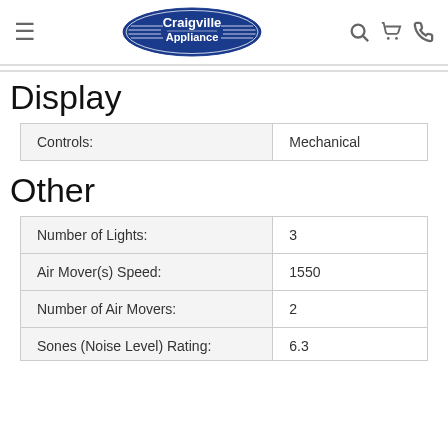Craigville Appliance
Display
| Controls: |  |
| --- | --- |
| Controls: | Mechanical |
Other
|  |  |
| --- | --- |
| Number of Lights: | 3 |
| Air Mover(s) Speed: | 1550 |
| Number of Air Movers: | 2 |
| Sones (Noise Level) Rating: | 6.3 |